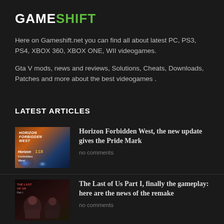GAMESHIFT
Here on Gameshift.net you can find all about latest PC, PS3, PS4, XBOX 360, XBOX ONE, WII videogames.
Gta V mods, news and reviews, Solutions, Cheats, Downloads, Patches and more about the best videogames .
LATEST ARTICLES
[Figure (photo): Horizon Forbidden West game thumbnail with orange/blue gradient visuals and robot imagery]
Horizon Forbidden West, the new update gives the Pride Mark
no comments
[Figure (photo): The Last of Us Part I game thumbnail showing dark atmospheric scene with characters]
The Last of Us Part I, finally the gameplay: here are the news of the remake
no comments